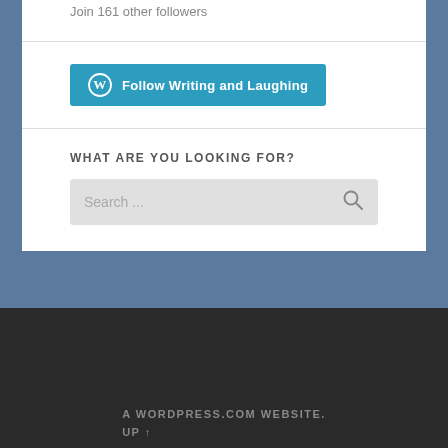Join 161 other followers
[Figure (screenshot): Teal/blue 'Follow Writing and Laughing' button with WordPress icon]
WHAT ARE YOU LOOKING FOR?
[Figure (screenshot): Search input box with placeholder 'Search ...' and a magnifying glass icon]
A WORDPRESS.COM WEBSITE. UP ↑